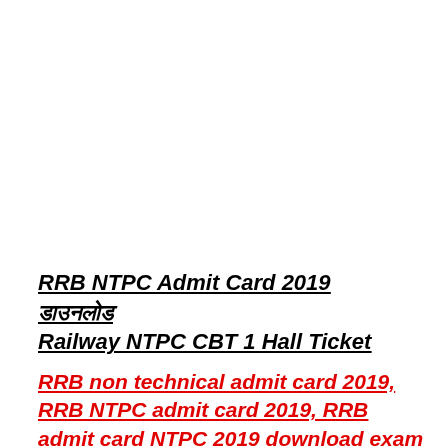RRB NTPC Admit Card 2019 ड Download Railway NTPC CBT 1 Hall Ticket
RRB non technical admit card 2019, RRB NTPC admit card 2019, RRB admit card NTPC 2019 download exam hall ticket-